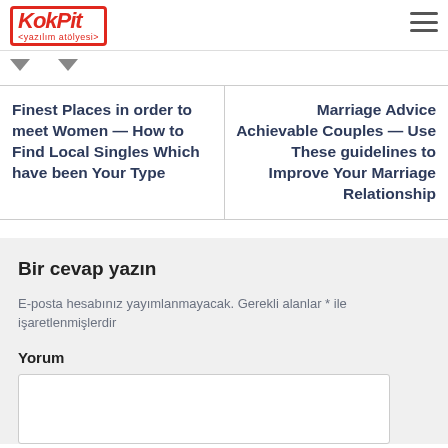KokPit yazılım atölyesi
Finest Places in order to meet Women — How to Find Local Singles Which have been Your Type
Marriage Advice Achievable Couples — Use These guidelines to Improve Your Marriage Relationship
Bir cevap yazın
E-posta hesabınız yayımlanmayacak. Gerekli alanlar * ile işaretlenmişlerdir
Yorum